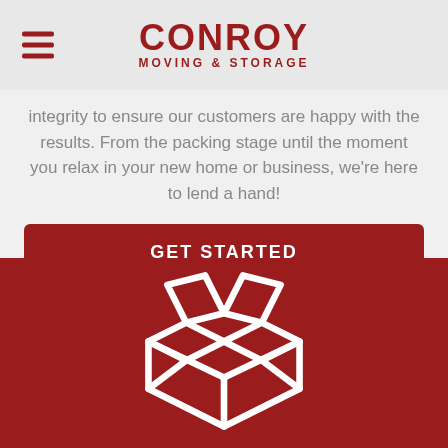CONROY MOVING & STORAGE
integrity to ensure our customers are happy with the results. From the packing stage until the moment you relax in your new home or business, we're here to lend a hand!
GET STARTED
[Figure (illustration): White open cardboard box icon on dark red background]